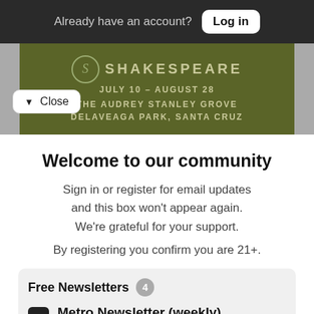Already have an account? Log in
[Figure (screenshot): Shakespeare festival banner: logo with S, text SHAKESPEARE, JULY 10 - AUGUST 28, THE AUDREY STANLEY GROVE DELAVEAGA PARK, SANTA CRUZ on olive/dark green background]
Close
Welcome to our community
Sign in or register for email updates and this box won't appear again. We're grateful for your support.
By registering you confirm you are 21+.
Free Newsletters 4
Metro Newsletter (weekly) — The weekly news